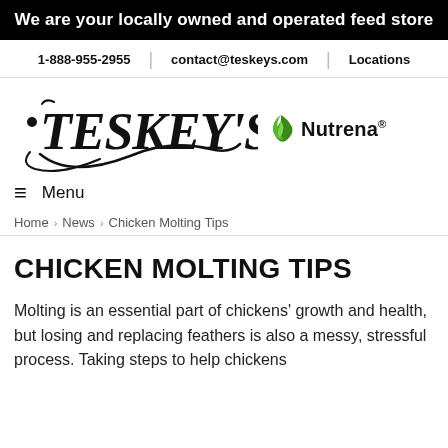We are your locally owned and operated feed store
1-888-955-2955 | contact@teskeys.com | Locations
[Figure (logo): Teskey's script logo alongside Nutrena logo with green leaf icon]
≡ Menu
Home › News › Chicken Molting Tips
CHICKEN MOLTING TIPS
Molting is an essential part of chickens' growth and health, but losing and replacing feathers is also a messy, stressful process. Taking steps to help chickens